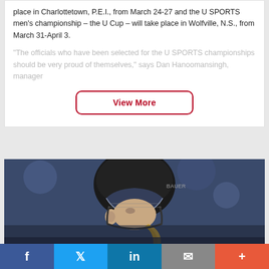place in Charlottetown, P.E.I., from March 24-27 and the U SPORTS men's championship – the U Cup – will take place in Wolfville, N.S., from March 31-April 3.
“The officials who have been selected for the U SPORTS championships should be very proud of themselves,” says Dan Hanoomansingh, manager
View More
[Figure (photo): A hockey player wearing a black Bauer helmet with visor, looking upward, blurred blue background]